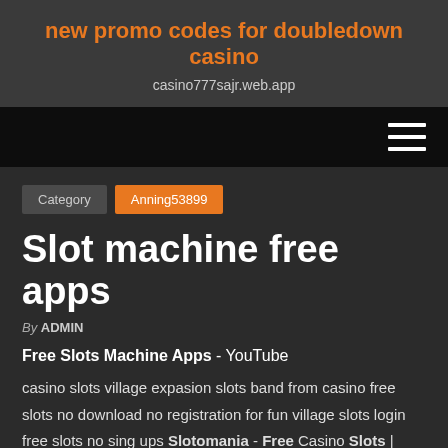new promo codes for doubledown casino
casino777sajr.web.app
[Figure (other): Navigation bar with hamburger menu icon (three horizontal lines) on dark/black background]
Category   Anning53899
Slot machine free apps
By ADMIN
Free Slots Machine Apps - YouTube
casino slots village expasion slots band from casino free slots no download no registration for fun village slots login free slots no sing ups Slotomania - Free Casino Slots | Play